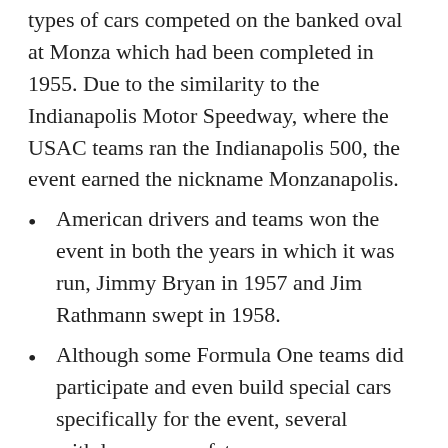types of cars competed on the banked oval at Monza which had been completed in 1955. Due to the similarity to the Indianapolis Motor Speedway, where the USAC teams ran the Indianapolis 500, the event earned the nickname Monzanapolis.
American drivers and teams won the event in both the years in which it was run, Jimmy Bryan in 1957 and Jim Rathmann swept in 1958.
Although some Formula One teams did participate and even build special cars specifically for the event, several withdrew over safety concerns. Continued concern over the speeds on the track and the cost of the event led to the race being